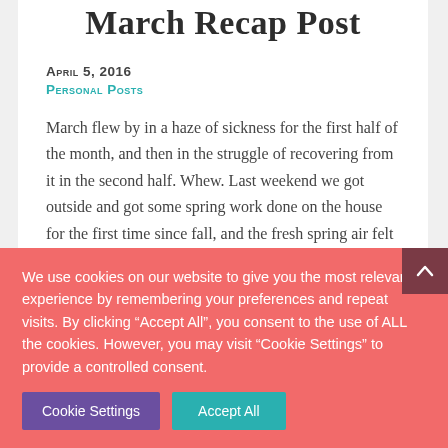March Recap Post
April 5, 2016
Personal Posts
March flew by in a haze of sickness for the first half of the month, and then in the struggle of recovering from it in the second half. Whew. Last weekend we got outside and got some spring work done on the house for the first time since fall, and the fresh spring air felt amazing.
We use cookies on our website to give you the most relevant experience by remembering your preferences and repeat visits. By clicking “Accept All”, you consent to the use of ALL the cookies. However, you may visit "Cookie Settings" to provide a controlled consent.
Cookie Settings
Accept All